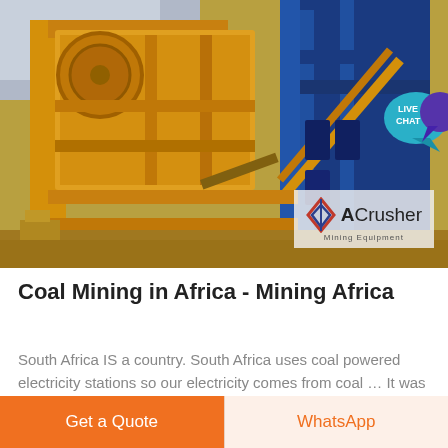[Figure (photo): Yellow industrial mining crusher machine (jaw crusher) on a construction/mining site, with steel framework visible. ACrusher Mining Equipment logo overlaid in bottom right of image. Live Chat bubble icon in top right corner.]
Coal Mining in Africa - Mining Africa
South Africa IS a country. South Africa uses coal powered electricity stations so our electricity comes from coal … It was Australia's first coal-mining city, and is still a significant coal …
Get a Quote
WhatsApp